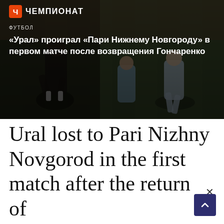[Figure (photo): Football match photo showing players on field, with Championat logo and Russian headline overlay. Dark atmospheric sports photo with players mid-action on a football pitch.]
ЧЕМПИОНАТ
ФУТБОЛ
«Урал» проиграл «Пари Нижнему Новгороду» в первом матче после возвращения Гончаренко
Ural lost to Pari Nizhny Novgorod in the first match after the return of Goncharenko